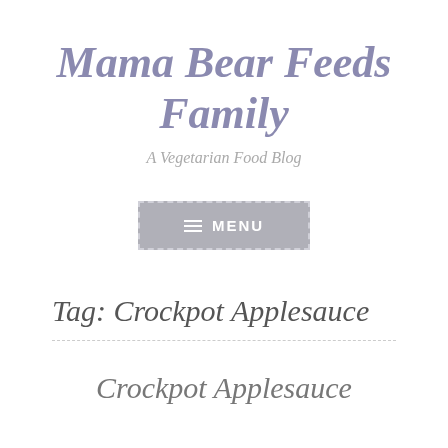Mama Bear Feeds Family
A Vegetarian Food Blog
[Figure (other): Menu navigation button with hamburger icon and text MENU, grey background with dashed border]
Tag: Crockpot Applesauce
Crockpot Applesauce